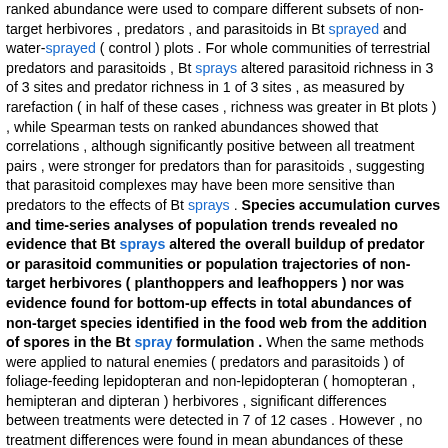ranked abundance were used to compare different subsets of non-target herbivores , predators , and parasitoids in Bt sprayed and water-sprayed ( control ) plots . For whole communities of terrestrial predators and parasitoids , Bt sprays altered parasitoid richness in 3 of 3 sites and predator richness in 1 of 3 sites , as measured by rarefaction ( in half of these cases , richness was greater in Bt plots ) , while Spearman tests on ranked abundances showed that correlations , although significantly positive between all treatment pairs , were stronger for predators than for parasitoids , suggesting that parasitoid complexes may have been more sensitive than predators to the effects of Bt sprays . Species accumulation curves and time-series analyses of population trends revealed no evidence that Bt sprays altered the overall buildup of predator or parasitoid communities or population trajectories of non-target herbivores ( planthoppers and leafhoppers ) nor was evidence found for bottom-up effects in total abundances of non-target species identified in the food web from the addition of spores in the Bt spray formulation . When the same methods were applied to natural enemies ( predators and parasitoids ) of foliage-feeding lepidopteran and non-lepidopteran ( homopteran , hemipteran and dipteran ) herbivores , significant differences between treatments were detected in 7 of 12 cases . However , no treatment differences were found in mean abundances of these natural enemies , either in time-series plots or in total ( seasonal ) abundance . Analysis of guild-level trajectories revealed population behavior and treatment differences that could not be predicted in whole-community studies of predators and parasitoids . A more conclusive test of the impact of Bt rice will require field experiments with transgenic plants , conducted in a range of Asian environments , and over multiple cropping seasons . [ Sen. 3, subscore: 1.00 ]: Endotoxins from Bacillus thuringiensis ( Bt ) produced in transgenic pest-resistant Bt crops are generally not toxic to